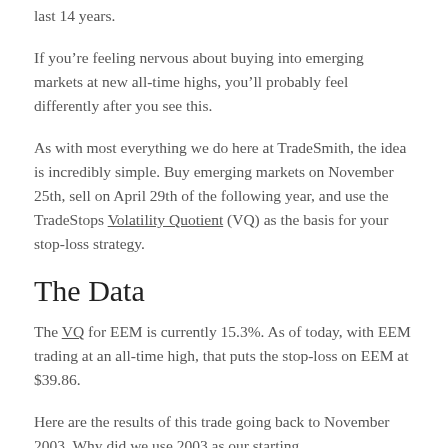last 14 years.
If you’re feeling nervous about buying into emerging markets at new all-time highs, you’ll probably feel differently after you see this.
As with most everything we do here at TradeSmith, the idea is incredibly simple. Buy emerging markets on November 25th, sell on April 29th of the following year, and use the TradeStops Volatility Quotient (VQ) as the basis for your stop-loss strategy.
The Data
The VQ for EEM is currently 15.3%. As of today, with EEM trading at an all-time high, that puts the stop-loss on EEM at $39.86.
Here are the results of this trade going back to November 2003. Why did we use 2003 as our starting